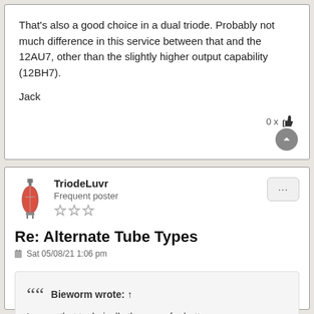That's also a good choice in a dual triode. Probably not much difference in this service between that and the 12AU7, other than the slightly higher output capability (12BH7).

Jack
0 x 👍
TriodeLuvr
Frequent poster
Re: Alternate Tube Types
Sat 05/08/21 1:06 pm
Bieworm wrote: ↑
I agree that technically there are far better